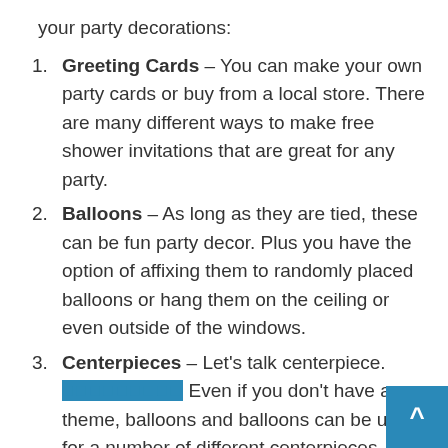your party decorations:
Greeting Cards – You can make your own party cards or buy from a local store. There are many different ways to make free shower invitations that are great for any party.
Balloons – As long as they are tied, these can be fun party decor. Plus you have the option of affixing them to randomly placed balloons or hang them on the ceiling or even outside of the windows.
Centerpieces – Let's talk centerpiece. [link] Even if you don't have a theme, balloons and balloons can be used for a number of different centerpieces. You can hang them all over the room, put them in the middle of